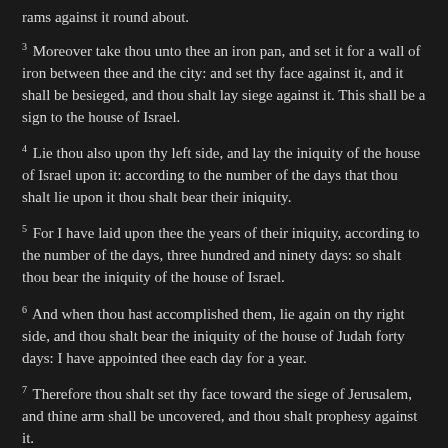rams against it round about.
3 Moreover take thou unto thee an iron pan, and set it for a wall of iron between thee and the city: and set thy face against it, and it shall be besieged, and thou shalt lay siege against it. This shall be a sign to the house of Israel.
4 Lie thou also upon thy left side, and lay the iniquity of the house of Israel upon it: according to the number of the days that thou shalt lie upon it thou shalt bear their iniquity.
5 For I have laid upon thee the years of their iniquity, according to the number of the days, three hundred and ninety days: so shalt thou bear the iniquity of the house of Israel.
6 And when thou hast accomplished them, lie again on thy right side, and thou shalt bear the iniquity of the house of Judah forty days: I have appointed thee each day for a year.
7 Therefore thou shalt set thy face toward the siege of Jerusalem, and thine arm shall be uncovered, and thou shalt prophesy against it.
8 And, behold, I will lay bands upon thee, and thou shalt not turn